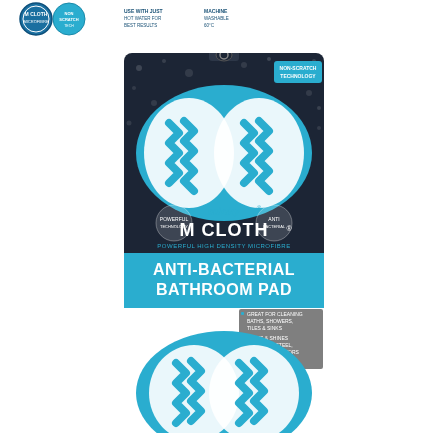[Figure (photo): Header area showing Minky M Cloth logo badges and certification icons at the top of the page, with a thin grey dividing line beneath.]
[Figure (photo): Product packaging photo of Minky M Cloth Anti-Bacterial Bathroom Pad. Dark navy background with white bubble/dots pattern. Shows the oval-shaped bathroom pad with white and teal/turquoise zig-zag microfibre texture. Package text reads: NON-SCRATCH TECHNOLOGY, minky, M CLOTH, POWERFUL HIGH DENSITY MICROFIBRE, ANTI-BACTERIAL BATHROOM PAD. Bullet points: Great for cleaning baths, showers, tiles & sinks; Buffs & shines stainless steel, chrome & mirrors. The pad itself is shown both inside the packaging and protruding below it.]